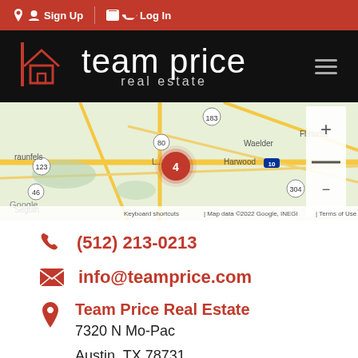Sign Up | Log In
[Figure (logo): Team Price Real Estate logo with house icon on black background]
[Figure (map): Google Maps showing area near Luling/Harwood TX with a red marker labeled 4, showing roads 183, 80, 123, 46, 10, 304, locations Waelder, Flatonia, Harwood, Seguin, New Braunfels]
(512) 213-0213
info@teamprice.com
Team Price Real Estate
7320 N Mo-Pac
Austin, TX 78731
(512) 213-0213